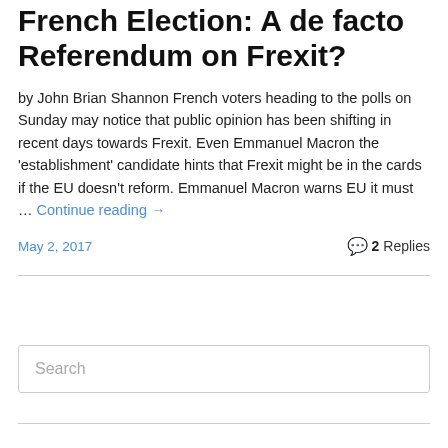French Election: A de facto Referendum on Frexit?
by John Brian Shannon French voters heading to the polls on Sunday may notice that public opinion has been shifting in recent days towards Frexit. Even Emmanuel Macron the 'establishment' candidate hints that Frexit might be in the cards if the EU doesn't reform. Emmanuel Macron warns EU it must … Continue reading →
May 2, 2017   2 Replies
Search